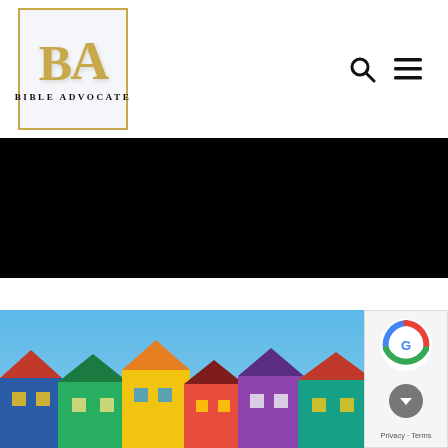[Figure (logo): Bible Advocate logo with gold BA letters in a gold-bordered box with text 'Bible Advocate' below]
[Figure (other): Navigation icons: search (magnifying glass) and hamburger menu]
[Figure (other): Black banner/hero image area]
[Figure (photo): Colorful rooftops of houses against a blue sky]
[Figure (other): reCAPTCHA badge overlay with Google logo and privacy/terms text]